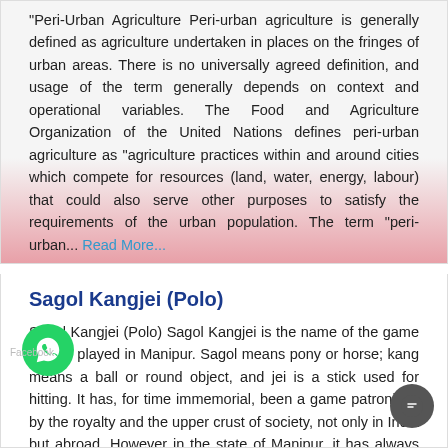Peri-Urban Agriculture Peri-urban agriculture is generally defined as agriculture undertaken in places on the fringes of urban areas. There is no universally agreed definition, and usage of the term generally depends on context and operational variables. The Food and Agriculture Organization of the United Nations defines peri-urban agriculture as "agriculture practices within and around cities which compete for resources (land, water, energy, labour) that could also serve other purposes to satisfy the requirements of the urban population. The term "peri-urban... Read More...
Dec 31, 2017   General Category
Sagol Kangjei (Polo)
Sagol Kangjei (Polo) Sagol Kangjei is the name of the game of polo played in Manipur. Sagol means pony or horse; kang means a ball or round object, and jei is a stick used for hitting. It has, for time immemorial, been a game patronised by the royalty and the upper crust of society, not only in India but abroad. However in the state of Manipur, it has always been a game for the common man. According to Kangjeiron Purana